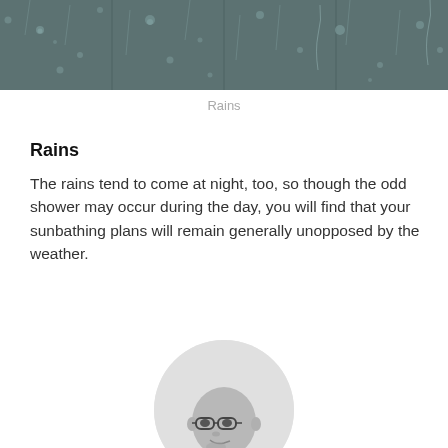[Figure (photo): A grayscale photo of a rain-covered window glass with water droplets]
Rains
Rains
The rains tend to come at night, too, so though the odd shower may occur during the day, you will find that your sunbathing plans will remain generally unopposed by the weather.
[Figure (photo): A circular black and white portrait photo of a bald man wearing glasses]